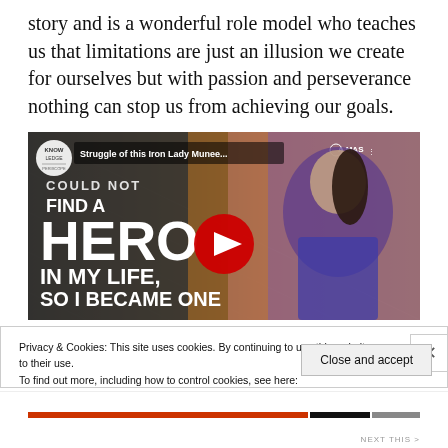story and is a wonderful role model who teaches us that limitations are just an illusion we create for ourselves but with passion and perseverance nothing can stop us from achieving our goals.
[Figure (screenshot): YouTube video thumbnail showing text 'FIND A HERO IN MY LIFE, SO I BECAME ONE' with a woman in blue on the right side. Video title overlay reads 'Struggle of this Iron Lady Munee...'. Red YouTube play button in the center.]
Privacy & Cookies: This site uses cookies. By continuing to use this website, you agree to their use.
To find out more, including how to control cookies, see here:
Cookie Policy
Close and accept